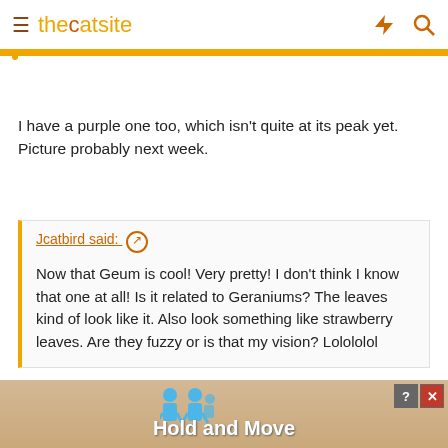thecatsite
I have a purple one too, which isn't quite at its peak yet. Picture probably next week.
Jcatbird said: ↗
Now that Geum is cool! Very pretty! I don't think I know that one at all! Is it related to Geraniums? The leaves kind of look like it. Also look something like strawberry leaves. Are they fuzzy or is that my vision? Lolololol
I googled and found this:
Geum, commonly called avens, is a genus of about 50 species of rhizomatous perennial herbaceous pla... ...leae, wid... ...th
[Figure (screenshot): Advertisement overlay banner at the bottom of the page showing 'Hold and Move' text with cartoon figures and close/help buttons]